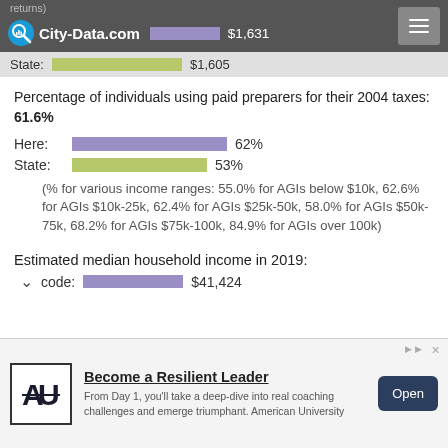returns)  City-Data.com  $1,631
State:  $1,605
Percentage of individuals using paid preparers for their 2004 taxes: 61.6%
Here:  62%
State:  53%
(% for various income ranges: 55.0% for AGIs below $10k, 62.6% for AGIs $10k-25k, 62.4% for AGIs $25k-50k, 58.0% for AGIs $50k-75k, 68.2% for AGIs $75k-100k, 84.9% for AGIs over 100k)
Estimated median household income in 2019:
code:  $41,424
[Figure (infographic): Advertisement banner: American University 'Become a Resilient Leader' ad with logo, description text, and Open button]